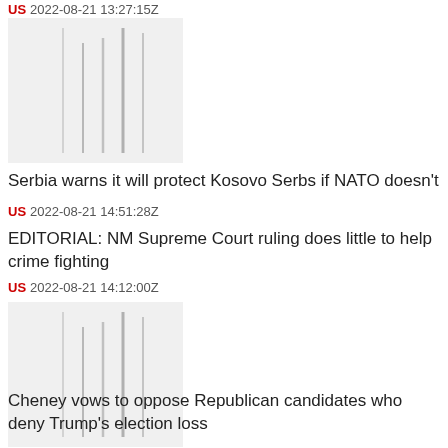US  2022-08-21 13:27:15Z
[Figure (photo): Placeholder image with vertical gray bars representing a thumbnail photo]
Serbia warns it will protect Kosovo Serbs if NATO doesn't
US  2022-08-21 14:51:28Z
EDITORIAL: NM Supreme Court ruling does little to help crime fighting
US  2022-08-21 14:12:00Z
[Figure (photo): Placeholder image with vertical gray bars representing a thumbnail photo]
Cheney vows to oppose Republican candidates who deny Trump's election loss